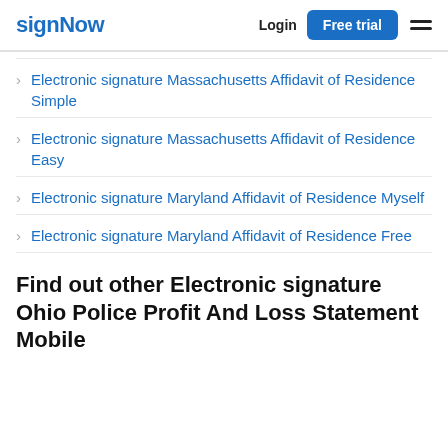signNow | Login | Free trial
Electronic signature Massachusetts Affidavit of Residence Simple
Electronic signature Massachusetts Affidavit of Residence Easy
Electronic signature Maryland Affidavit of Residence Myself
Electronic signature Maryland Affidavit of Residence Free
Find out other Electronic signature Ohio Police Profit And Loss Statement Mobile